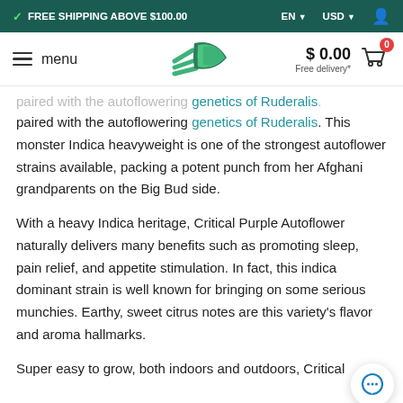FREE SHIPPING ABOVE $100.00 | EN | USD
menu | $ 0.00 Free delivery*
paired with the autoflowering genetics of Ruderalis. This monster Indica heavyweight is one of the strongest autoflower strains available, packing a potent punch from her Afghani grandparents on the Big Bud side.
With a heavy Indica heritage, Critical Purple Autoflower naturally delivers many benefits such as promoting sleep, pain relief, and appetite stimulation. In fact, this indica dominant strain is well known for bringing on some serious munchies. Earthy, sweet citrus notes are this variety's flavor and aroma hallmarks.
Super easy to grow, both indoors and outdoors, Critical Purple...